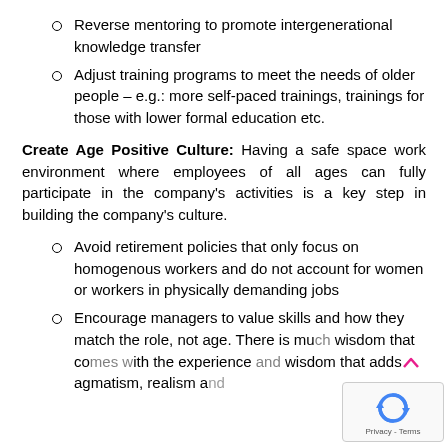Reverse mentoring to promote intergenerational knowledge transfer
Adjust training programs to meet the needs of older people – e.g.: more self-paced trainings, trainings for those with lower formal education etc.
Create Age Positive Culture: Having a safe space work environment where employees of all ages can fully participate in the company's activities is a key step in building the company's culture.
Avoid retirement policies that only focus on homogenous workers and do not account for women or workers in physically demanding jobs
Encourage managers to value skills and how they match the role, not age. There is much wisdom that comes with the experience and wisdom that adds pragmatism, realism and creativity and health challenges